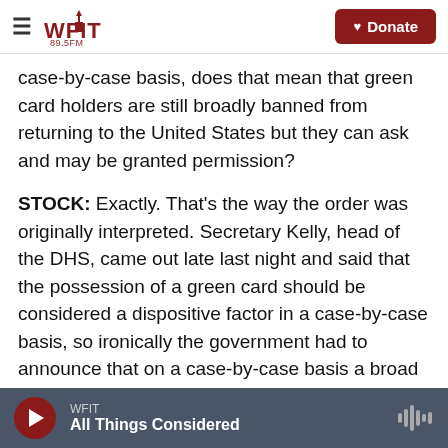WFIT 89.5FM | Donate
case-by-case basis, does that mean that green card holders are still broadly banned from returning to the United States but they can ask and may be granted permission?
STOCK: Exactly. That's the way the order was originally interpreted. Secretary Kelly, head of the DHS, came out late last night and said that the possession of a green card should be considered a dispositive factor in a case-by-case basis, so ironically the government had to announce that on a case-by-case basis a broad category of people was subject to being admitted.
WFIT | All Things Considered